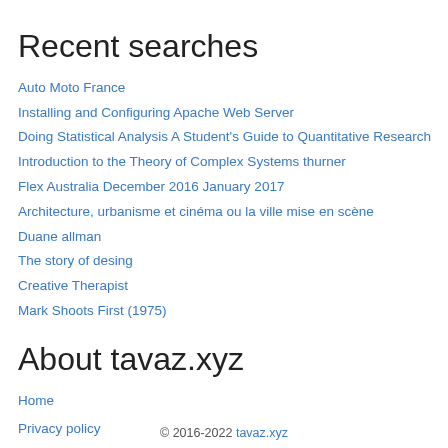Recent searches
Auto Moto France
Installing and Configuring Apache Web Server
Doing Statistical Analysis A Student's Guide to Quantitative Research
Introduction to the Theory of Complex Systems thurner
Flex Australia December 2016 January 2017
Architecture, urbanisme et cinéma ou la ville mise en scène
Duane allman
The story of desing
Creative Therapist
Mark Shoots First (1975)
About tavaz.xyz
Home
Privacy policy
Contact
© 2016-2022 tavaz.xyz